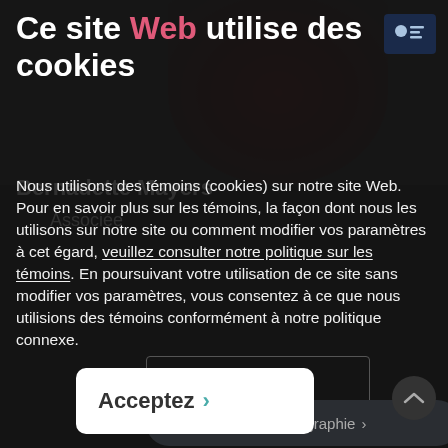Ce site Web utilise des cookies
Nous utilisons des témoins (cookies) sur notre site Web. Pour en savoir plus sur les témoins, la façon dont nous les utilisons sur notre site ou comment modifier vos paramètres à cet égard, veuillez consulter notre politique sur les témoins. En poursuivant votre utilisation de ce site sans modifier vos paramètres, vous consentez à ce que nous utilisions des témoins conformément à notre politique connexe.
En bref >
Voir la biographie >
Acceptez >